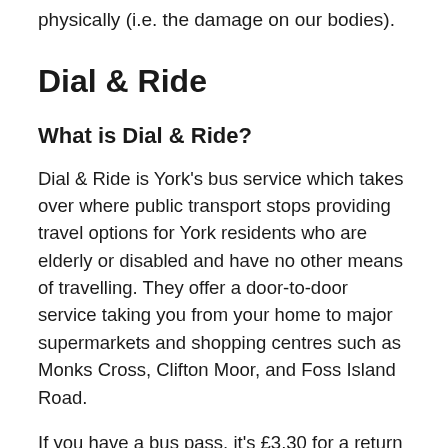physically (i.e. the damage on our bodies).
Dial & Ride
What is Dial & Ride?
Dial & Ride is York's bus service which takes over where public transport stops providing travel options for York residents who are elderly or disabled and have no other means of travelling. They offer a door-to-door service taking you from your home to major supermarkets and shopping centres such as Monks Cross, Clifton Moor, and Foss Island Road.
If you have a bus pass, it's £3.30 for a return journey or £1.70 for a single journey. Without a bus pass, it's £6 and £3 respectively.
And why isn't it a good option for